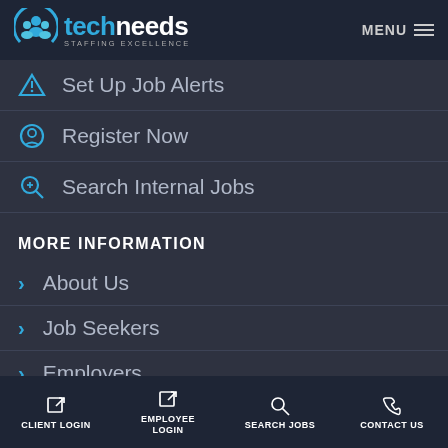techneeds STAFFING EXCELLENCE — MENU
Set Up Job Alerts
Register Now
Search Internal Jobs
MORE INFORMATION
About Us
Job Seekers
Employers
Blog & News
CLIENT LOGIN | EMPLOYEE LOGIN | SEARCH JOBS | CONTACT US